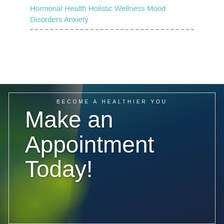Hormonal Health Holistic Wellness Mood Disorders Anxiety
[Figure (photo): Background photo of a teal/dark blue armchair with green plants in the foreground, serving as a backdrop for appointment call-to-action text]
BECOME A HEALTHIER YOU
Make an Appointment Today!